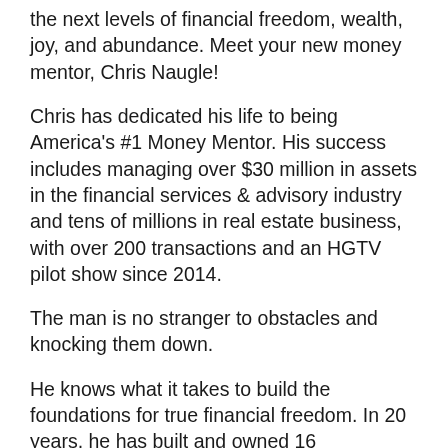the next levels of financial freedom, wealth, joy, and abundance. Meet your new money mentor, Chris Naugle!
Chris has dedicated his life to being America's #1 Money Mentor. His success includes managing over $30 million in assets in the financial services & advisory industry and tens of millions in real estate business, with over 200 transactions and an HGTV pilot show since 2014.
The man is no stranger to obstacles and knocking them down.
He knows what it takes to build the foundations for true financial freedom. In 20 years, he has built and owned 16 companies.
A experience and driving on in wealth